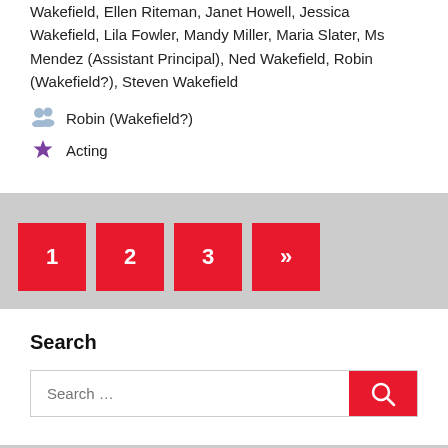Wakefield, Ellen Riteman, Janet Howell, Jessica Wakefield, Lila Fowler, Mandy Miller, Maria Slater, Ms Mendez (Assistant Principal), Ned Wakefield, Robin (Wakefield?), Steven Wakefield
Robin (Wakefield?)
Acting
1 2 3 »
Search
About